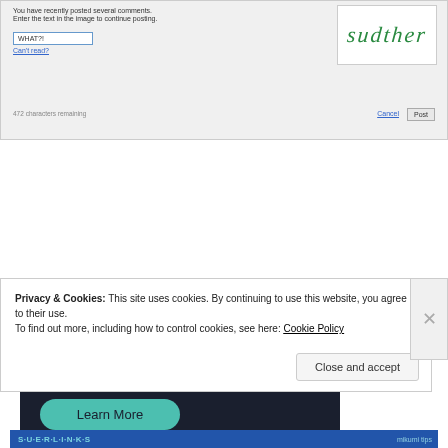[Figure (screenshot): A CAPTCHA verification form. Text reads: 'You have recently posted several comments. Enter the text in the image to continue posting.' Input box contains 'WHAT?!' with a 'Can't read?' link. CAPTCHA image shows the cursive word 'sudther' in green. Below: '472 characters remaining' with Cancel and Post buttons.]
[Figure (screenshot): Dark advertisement banner with teal text reading 'into a money-making online course.' and a teal 'Learn More' button.]
Privacy & Cookies: This site uses cookies. By continuing to use this website, you agree to their use.
To find out more, including how to control cookies, see here: Cookie Policy